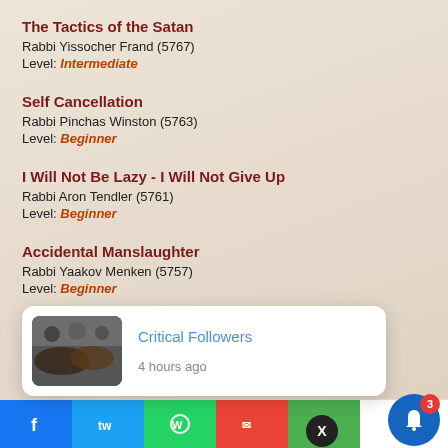The Tactics of the Satan
Rabbi Yissocher Frand (5767)
Level: Intermediate
Self Cancellation
Rabbi Pinchas Winston (5763)
Level: Beginner
I Will Not Be Lazy - I Will Not Give Up
Rabbi Aron Tendler (5761)
Level: Beginner
Accidental Manslaughter
Rabbi Yaakov Menken (5757)
Level: Beginner
The Measure of A Person Is His Sense of Gratitude
Rabbi Yissocher Frand (5769)
[Figure (screenshot): Push notification popup showing 'Critical Followers' with a handshake image, timestamped '4 hours ago', with an X close button]
[Figure (screenshot): Bottom app sharing bar with Facebook, Twitter, WhatsApp, Mail, Print icons and a notification bell with badge count 3]